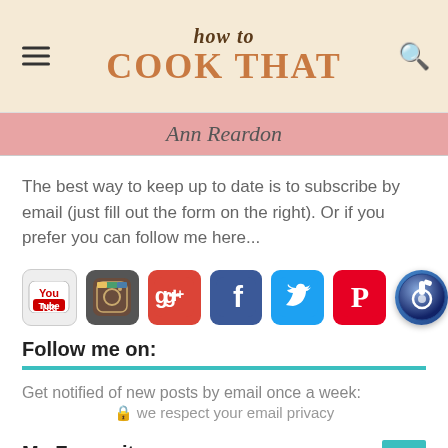how to COOK THAT — Ann Reardon
The best way to keep up to date is to subscribe by email (just fill out the form on the right). Or if you prefer you can follow me here...
[Figure (infographic): Row of seven social media icons: YouTube, Instagram, Google+, Facebook, Twitter, Pinterest, iTunes]
Follow me on:
Get notified of new posts by email once a week:
🔒 we respect your email privacy
My Favourites